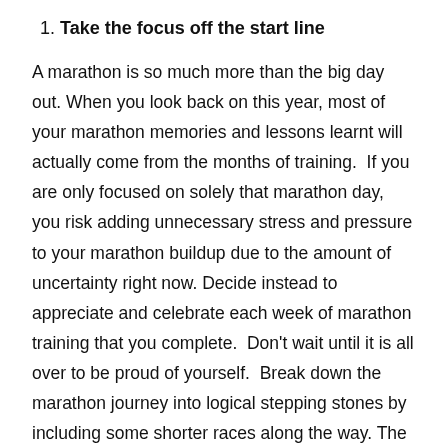1. Take the focus off the start line
A marathon is so much more than the big day out. When you look back on this year, most of your marathon memories and lessons learnt will actually come from the months of training. If you are only focused on solely that marathon day, you risk adding unnecessary stress and pressure to your marathon buildup due to the amount of uncertainty right now. Decide instead to appreciate and celebrate each week of marathon training that you complete. Don't wait until it is all over to be proud of yourself. Break down the marathon journey into logical stepping stones by including some shorter races along the way. The